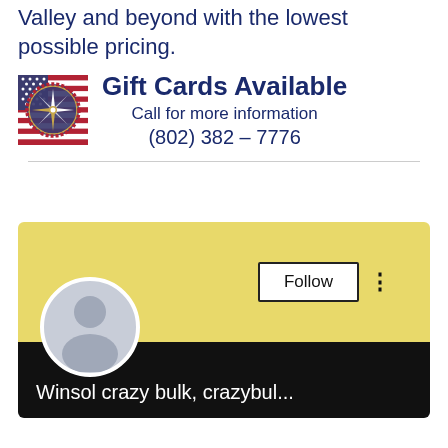Valley and beyond with the lowest possible pricing.
[Figure (logo): Circular compass logo with American flag stripes and stars pattern border]
Gift Cards Available
Call for more information
(802) 382 - 7776
[Figure (screenshot): Social media profile card with yellow header, default avatar placeholder, Follow button, and username 'Winsol crazy bulk, crazybul...' on black background]